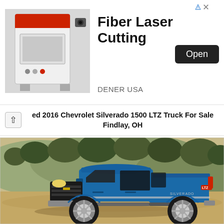[Figure (screenshot): Advertisement banner for Fiber Laser Cutting by DENER USA, showing a laser cutting machine on the left, bold headline text 'Fiber Laser Cutting', subtext 'DENER USA', and a black 'Open' button. Ad indicator icons (triangle and X) in top right corner.]
ed 2016 Chevrolet Silverado 1500 LTZ Truck For Sale Findlay, OH
[Figure (photo): Photo of a blue 2016 Chevrolet Silverado 1500 LTZ truck parked on a dirt/gravel road with dry hills, trees, and scrubby vegetation in the background. The truck is photographed from a front three-quarter angle, passenger side visible.]